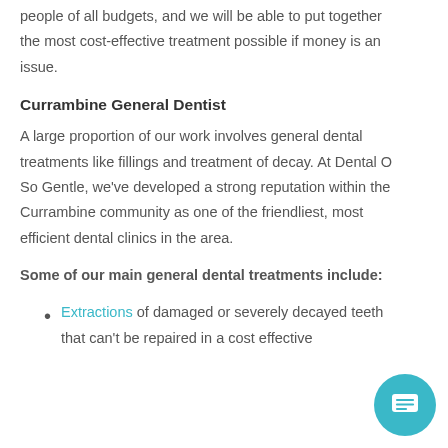people of all budgets, and we will be able to put together the most cost-effective treatment possible if money is an issue.
Currambine General Dentist
A large proportion of our work involves general dental treatments like fillings and treatment of decay. At Dental O So Gentle, we've developed a strong reputation within the Currambine community as one of the friendliest, most efficient dental clinics in the area.
Some of our main general dental treatments include:
Extractions of damaged or severely decayed teeth that can't be repaired in a cost effective